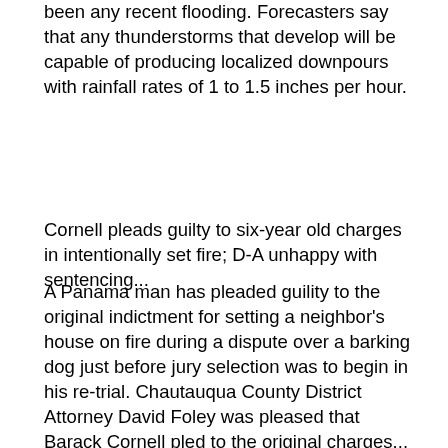been any recent flooding.  Forecasters say that any thunderstorms that develop will be capable of producing localized downpours with rainfall rates of 1 to 1.5 inches per hour.
Cornell pleads guilty to six-year old charges in intentionally set fire; D-A unhappy with sentencing...
A Panama man has pleaded guility to the original indictment for setting a neighbor's house on fire during a dispute over a barking dog just before jury selection was to begin in his re-trial.  Chautauqua County District Attorney David Foley was pleased that Barack Cornell pled to the original charges... which included second-degree arson, and three counts of reckless endangerment.  However... Foley was not pleased the court gave Cornell a 10 year determinate sentence.  He says he was looking for 14 to 15-years in prison.  Foley says the court capped it at 10 over his objection.